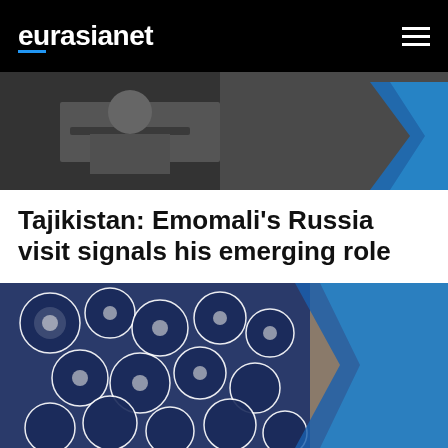eurasianet
[Figure (photo): Partial photo of a person in dark suit at a desk, with a blue geometric shape overlay visible on the right side]
Tajikistan: Emomali's Russia visit signals his emerging role
Any breakthrough in improving the lot of labor migrants will be touted as sign of his political heft.
Nov 26, 2020
[Figure (photo): Photo of blue and white patterned textiles or crafts stacked together, with a blue geometric shape overlay visible on the right side]